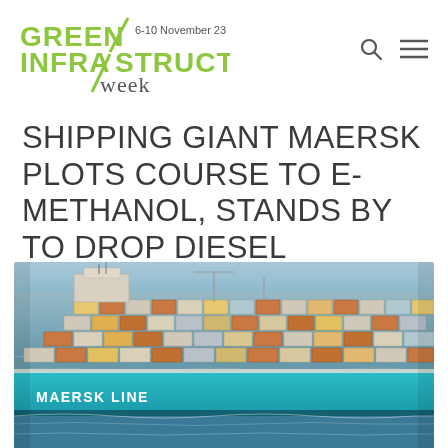GREEN INFRASTRUCTURE week · 6-10 November 23
SHIPPING GIANT MAERSK PLOTS COURSE TO E-METHANOL, STANDS BY TO DROP DIESEL
[Figure (photo): Aerial/side view of a large Maersk Line container ship loaded with numerous shipping containers, sailing on the ocean. The ship hull is teal/turquoise colored with 'MAERSK LINE' text visible on the side.]